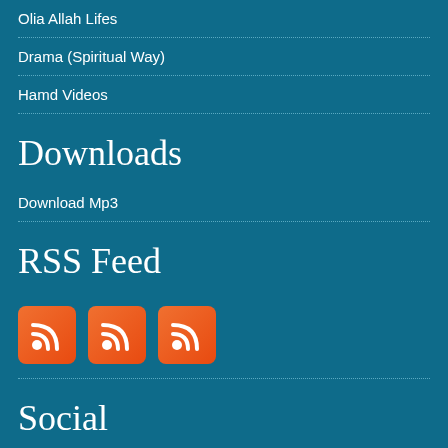Olia Allah Lifes
Drama (Spiritual Way)
Hamd Videos
Downloads
Download Mp3
RSS Feed
[Figure (illustration): Three orange RSS feed icons with white signal wave symbols]
Social